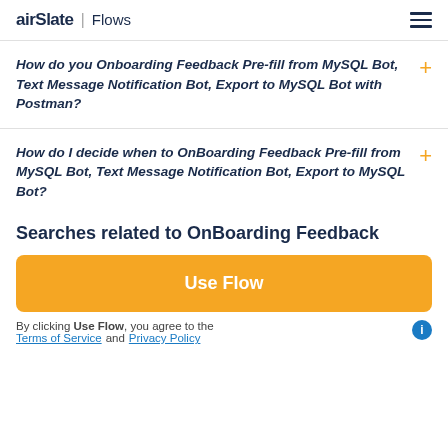airSlate | Flows
How do you Onboarding Feedback Pre-fill from MySQL Bot, Text Message Notification Bot, Export to MySQL Bot with Postman?
How do I decide when to OnBoarding Feedback Pre-fill from MySQL Bot, Text Message Notification Bot, Export to MySQL Bot?
Searches related to OnBoarding Feedback
Use Flow
By clicking Use Flow, you agree to the Terms of Service and Privacy Policy